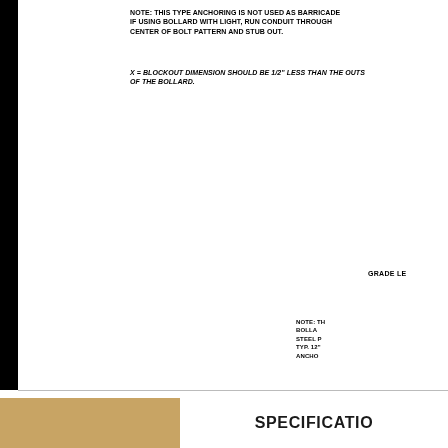NOTE: THIS TYPE ANCHORING IS NOT USED AS BARRICADE IF USING BOLLARD WITH LIGHT, RUN CONDUIT THROUGH CENTER OF BOLT PATTERN AND STUB OUT.
X = BLOCKOUT DIMENSION SHOULD BE 1/2" LESS THAN THE OUTSIDE OF THE BOLLARD.
GRADE LEVEL
NOTE: THIS BOLLARD STEEL P TYP. 12" ANCHO
SPECIFICATION